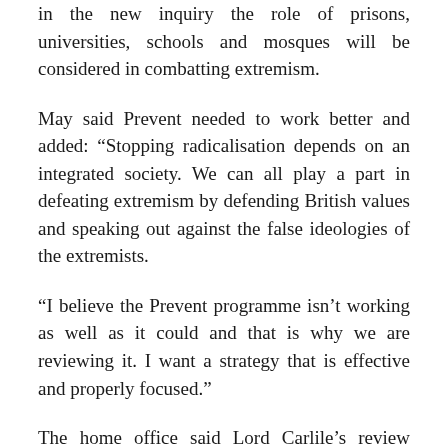in the new inquiry the role of prisons, universities, schools and mosques will be considered in combatting extremism.
May said Prevent needed to work better and added: “Stopping radicalisation depends on an integrated society. We can all play a part in defeating extremism by defending British values and speaking out against the false ideologies of the extremists.
“I believe the Prevent programme isn’t working as well as it could and that is why we are reviewing it. I want a strategy that is effective and properly focused.”
The home office said Lord Carlile’s review would “make recommendations for a revised Prevent